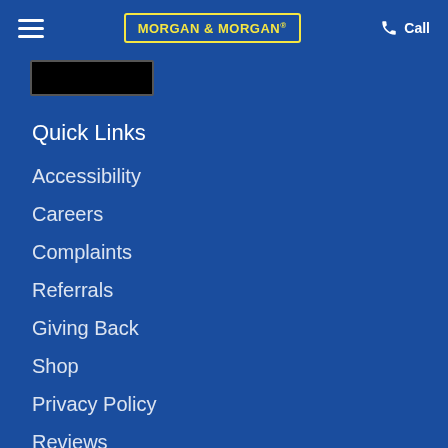MORGAN & MORGAN | Call
Quick Links
Accessibility
Careers
Complaints
Referrals
Giving Back
Shop
Privacy Policy
Reviews
Terms & Conditions
Scholarships